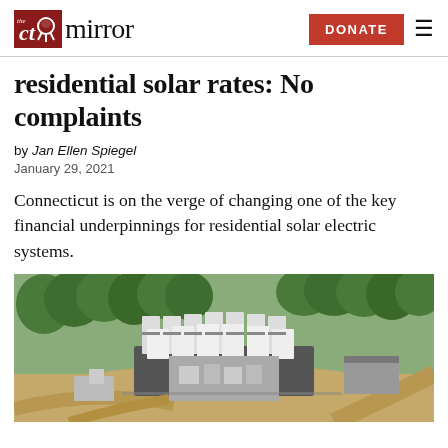CT Mirror | DONATE
residential solar rates: No complaints
by Jan Ellen Spiegel
January 29, 2021
Connecticut is on the verge of changing one of the key financial underpinnings for residential solar electric systems.
[Figure (photo): Aerial rendering of a large industrial energy or solar facility with white storage units, surrounded by trees and dirt roads.]